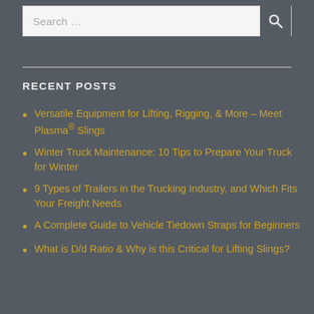Search …
RECENT POSTS
Versatile Equipment for Lifting, Rigging, & More – Meet Plasma® Slings
Winter Truck Maintenance: 10 Tips to Prepare Your Truck for Winter
9 Types of Trailers in the Trucking Industry, and Which Fits Your Freight Needs
A Complete Guide to Vehicle Tiedown Straps for Beginners
What is D/d Ratio & Why is this Critical for Lifting Slings?